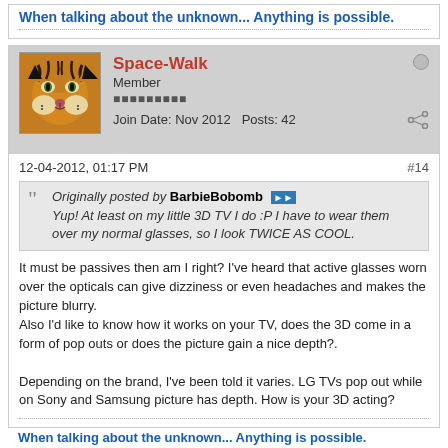When talking about the unknown... Anything is possible.
[Figure (photo): Tiger face avatar image for user Space-Walk]
Space-Walk
Member
Join Date: Nov 2012  Posts: 42
12-04-2012, 01:17 PM   #14
Originally posted by BarbieBobomb
Yup! At least on my little 3D TV I do :P I have to wear them over my normal glasses, so I look TWICE AS COOL.
It must be passives then am I right? I've heard that active glasses worn over the opticals can give dizziness or even headaches and makes the picture blurry.
Also I'd like to know how it works on your TV, does the 3D come in a form of pop outs or does the picture gain a nice depth?.

Depending on the brand, I've been told it varies. LG TVs pop out while on Sony and Samsung picture has depth. How is your 3D acting?
When talking about the unknown... Anything is possible.